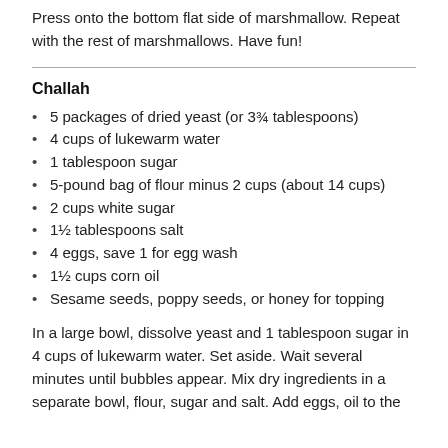Press onto the bottom flat side of marshmallow. Repeat with the rest of marshmallows. Have fun!
Challah
5 packages of dried yeast (or 3¾ tablespoons)
4 cups of lukewarm water
1 tablespoon sugar
5-pound bag of flour minus 2 cups (about 14 cups)
2 cups white sugar
1½ tablespoons salt
4 eggs, save 1 for egg wash
1½ cups corn oil
Sesame seeds, poppy seeds, or honey for topping
In a large bowl, dissolve yeast and 1 tablespoon sugar in 4 cups of lukewarm water. Set aside. Wait several minutes until bubbles appear. Mix dry ingredients in a separate bowl, flour, sugar and salt. Add eggs, oil to the